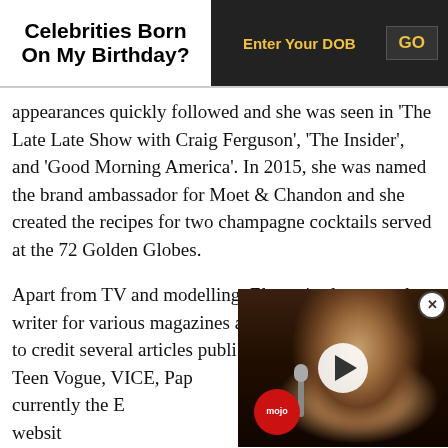Celebrities Born On My Birthday?
appearances quickly followed and she was seen in 'The Late Late Show with Craig Ferguson', 'The Insider', and 'Good Morning America'. In 2015, she was named the brand ambassador for Moet & Chandon and she created the recipes for two champagne cocktails served at the 72 Golden Globes.
Apart from TV and modelling, Elettra is also a regular writer for various magazines and publications. She has to credit several articles published in New York Cut, Teen Vogue, VICE, Paper, and many others. She is currently the Editor-in-Chief of Refinery29, a lifestyle website
[Figure (screenshot): Video thumbnail showing a person singing into a microphone, with a play button overlay and a WatchMojo logo badge, plus a close (X) button in the top right corner.]